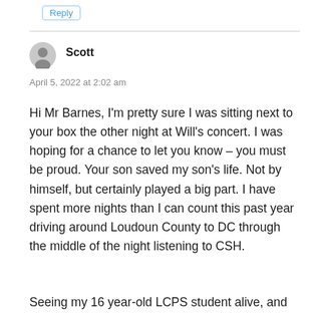Reply
Scott
April 5, 2022 at 2:02 am
Hi Mr Barnes, I'm pretty sure I was sitting next to your box the other night at Will's concert. I was hoping for a chance to let you know – you must be proud. Your son saved my son's life. Not by himself, but certainly played a big part. I have spent more nights than I can count this past year driving around Loudoun County to DC through the middle of the night listening to CSH.
Seeing my 16 year-old LCPS student alive, and